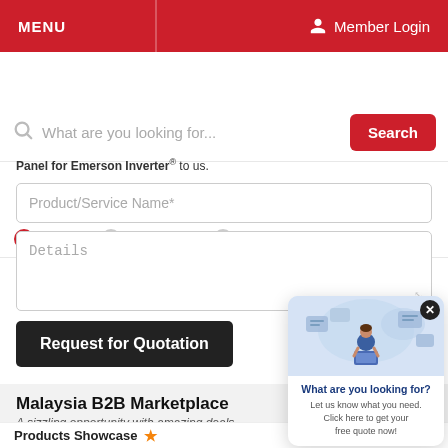MENU | Member Login
What are you looking for... Search
Posts  Company  Products
Panel for Emerson Inverter" to us.
Product/Service Name*
Details
Request for Quotation
[Figure (illustration): Popup with illustration of person at computer with floating UI elements, close button, title 'What are you looking for?', text 'Let us know what you need. Click here to get your free quote now!']
Malaysia B2B Marketplace
A sizzling opportunity with amazing deals
Products Showcase ★    More Products ➜